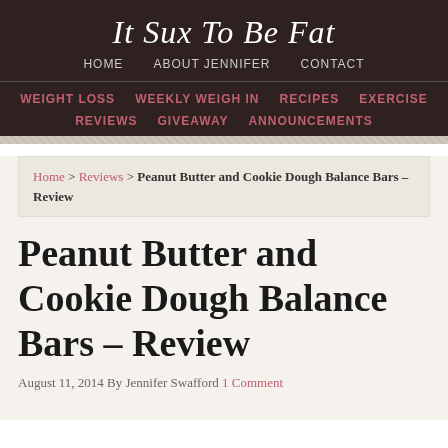It Sux To Be Fat
HOME   ABOUT JENNIFER   CONTACT
WEIGHT LOSS   WEEKLY WEIGH IN   RECIPES   EXERCISE   REVIEWS   GIVEAWAY   ANNOUNCEMENTS
Home > Reviews > Peanut Butter and Cookie Dough Balance Bars – Review
Peanut Butter and Cookie Dough Balance Bars – Review
August 11, 2014 By Jennifer Swafford 1 Comment